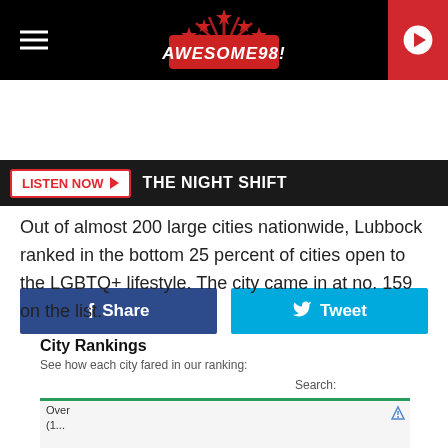[Figure (logo): Awesome 98 radio station logo with red stars and burst design on black background, with hamburger menu icon on left and red play button on right]
[Figure (screenshot): Listen Now button with red border and THE NIGHT SHIFT text on dark bar]
[Figure (screenshot): Facebook Share button (dark blue) and Tweet button (light blue) social sharing row]
Out of almost 200 large cities nationwide, Lubbock ranked in the bottom 25 percent of cities open to the LGBTQ+ lifestyle. The city came in at no. 159 on the list.
City Rankings
See how each city fared in our ranking:
Search:
[Figure (screenshot): Partial table preview showing city rankings with a green top border and truncated rows for Overall (1...)]